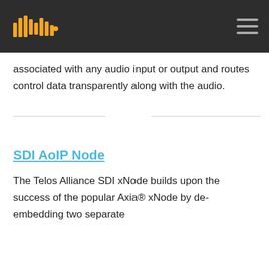[Figure (logo): Telos Alliance logo - stylized waveform in orange/gold on dark background header bar with hamburger menu icon]
associated with any audio input or output and routes control data transparently along with the audio.
SDI AoIP Node
The Telos Alliance SDI xNode builds upon the success of the popular Axia® xNode by de-embedding two separate